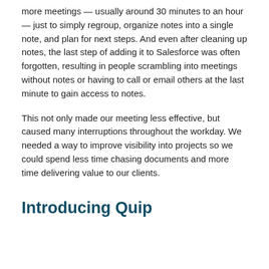more meetings — usually around 30 minutes to an hour — just to simply regroup, organize notes into a single note, and plan for next steps. And even after cleaning up notes, the last step of adding it to Salesforce was often forgotten, resulting in people scrambling into meetings without notes or having to call or email others at the last minute to gain access to notes.
This not only made our meeting less effective, but caused many interruptions throughout the workday. We needed a way to improve visibility into projects so we could spend less time chasing documents and more time delivering value to our clients.
Introducing Quip